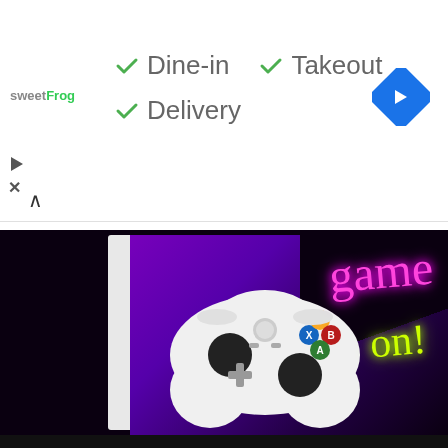[Figure (screenshot): Ad banner for sweetFrog restaurant showing dine-in, takeout, and delivery options with green checkmarks, and a blue navigation arrow icon on the right]
[Figure (photo): Xbox console and white controller on a purple and black geometric background with neon 'game on!' text in pink and yellow]
Don't forget to subscribe to my channel:
TechGirlZA
[Figure (screenshot): YouTube subscription widget showing TechGirlZA channel with 6K subscribers button]
Latest Articles